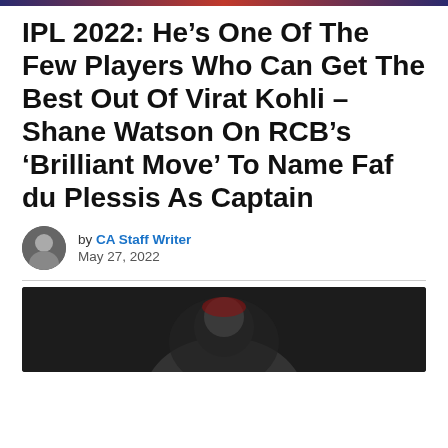IPL 2022: He’s One Of The Few Players Who Can Get The Best Out Of Virat Kohli – Shane Watson On RCB’s ‘Brilliant Move’ To Name Faf du Plessis As Captain
by CA Staff Writer
May 27, 2022
[Figure (photo): Photo of a cricket player, partially visible at the bottom of the page]